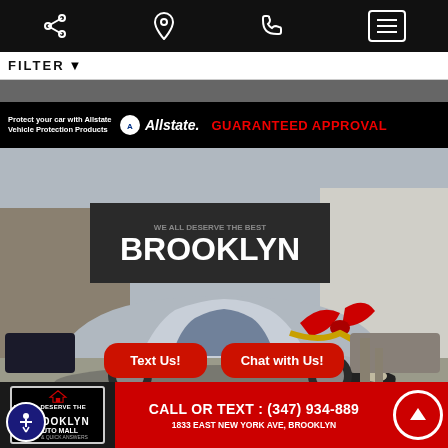Navigation bar with share, location, phone, and menu icons
FILTER
[Figure (photo): Car dealership photo showing a silver Toyota Camry with a red and gold bow on the hood, parked at Brooklyn Auto Mall dealership. An Allstate banner at top reads 'Protect your car with Allstate Vehicle Protection Products' and 'GUARANTEED APPROVAL'. Bottom shows 'Text Us!' and 'Chat with Us!' buttons. Footer shows Brooklyn Auto Mall logo and 'CALL OR TEXT: (347) 934-889' and '1833 EAST NEW YORK AVE, BROOKLYN']